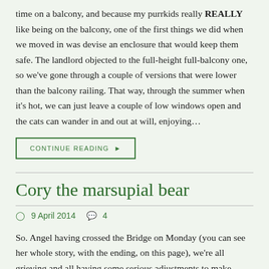time on a balcony, and because my purrkids really REALLY like being on the balcony, one of the first things we did when we moved in was devise an enclosure that would keep them safe. The landlord objected to the full-height full-balcony one, so we've gone through a couple of versions that were lower than the balcony railing. That way, through the summer when it's hot, we can just leave a couple of low windows open and the cats can wander in and out at will, enjoying...
CONTINUE READING ▶
Cory the marsupial bear
9 April 2014   4
So. Angel having crossed the Bridge on Monday (you can see her whole story, with the ending, on this page), we're all grieving and all having some serious adjustments to make. Trick and Freya are both demanding a bit more attention than normal but are largely okay. Cory, however, is having more trouble. For as long as I can remember, he's only been willing to cuddle in the